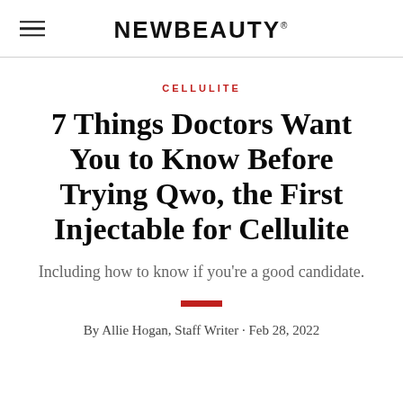NEWBEAUTY
CELLULITE
7 Things Doctors Want You to Know Before Trying Qwo, the First Injectable for Cellulite
Including how to know if you're a good candidate.
By Allie Hogan, Staff Writer · Feb 28, 2022